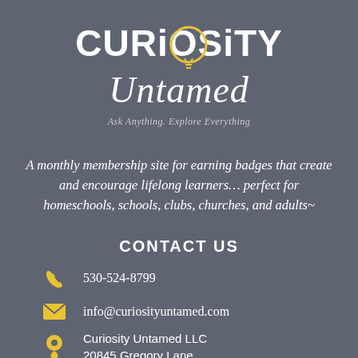[Figure (logo): Curiosity Untamed logo with light bulb graphic, bold stylized text 'CURiOSiTY' and script 'Untamed', tagline 'Ask Anything. Explore Everything']
A monthly membership site for earning badges that create and encourage lifelong learners… perfect for homeschools, schools, clubs, churches, and adults~
CONTACT US
530-524-8799
info@curiosityuntamed.com
Curiosity Untamed LLC
20845 Gregory Lane